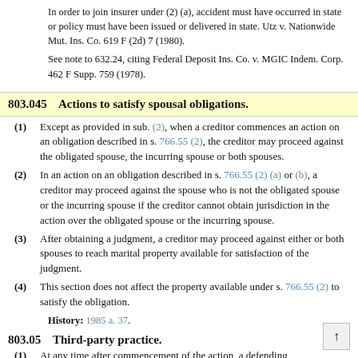In order to join insurer under (2) (a), accident must have occurred in state or policy must have been issued or delivered in state. Utz v. Nationwide Mut. Ins. Co. 619 F (2d) 7 (1980).
See note to 632.24, citing Federal Deposit Ins. Co. v. MGIC Indem. Corp. 462 F Supp. 759 (1978).
803.045   Actions to satisfy spousal obligations.
(1) Except as provided in sub. (2), when a creditor commences an action on an obligation described in s. 766.55 (2), the creditor may proceed against the obligated spouse, the incurring spouse or both spouses.
(2) In an action on an obligation described in s. 766.55 (2) (a) or (b), a creditor may proceed against the spouse who is not the obligated spouse or the incurring spouse if the creditor cannot obtain jurisdiction in the action over the obligated spouse or the incurring spouse.
(3) After obtaining a judgment, a creditor may proceed against either or both spouses to reach marital property available for satisfaction of the judgment.
(4) This section does not affect the property available under s. 766.55 (2) to satisfy the obligation.
History: 1985 a. 37.
803.05   Third-party practice.
(1) At any time after commencement of the action, a defending